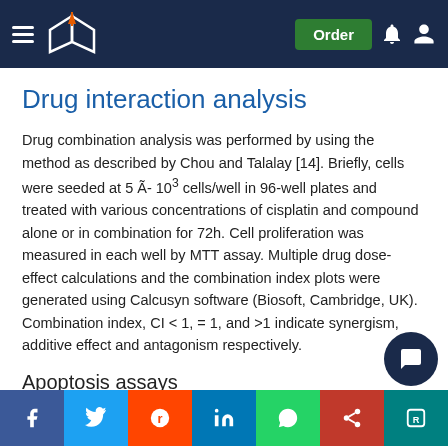Drug interaction analysis — website header bar with logo and Order button
Drug interaction analysis
Drug combination analysis was performed by using the method as described by Chou and Talalay [14]. Briefly, cells were seeded at 5 Ã- 103 cells/well in 96-well plates and treated with various concentrations of cisplatin and compound alone or in combination for 72h. Cell proliferation was measured in each well by MTT assay. Multiple drug dose-effect calculations and the combination index plots were generated using Calcusyn software (Biosoft, Cambridge, UK). Combination index, CI < 1, = 1, and >1 indicate synergism, additive effect and antagonism respectively.
Apoptosis assays
Quantitatio a c b e w t g was
Social share bar: Facebook, Twitter, Reddit, LinkedIn, WhatsApp, share, ResearchGate